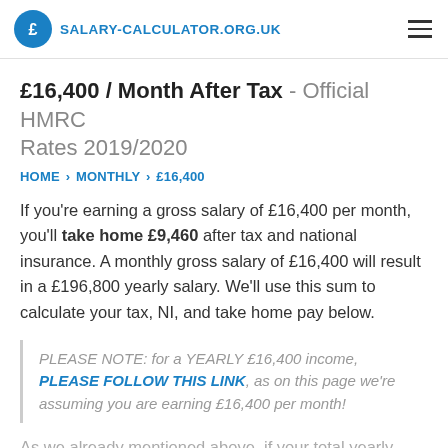SALARY-CALCULATOR.ORG.UK
£16,400 / Month After Tax - Official HMRC Rates 2019/2020
HOME › MONTHLY › £16,400
If you're earning a gross salary of £16,400 per month, you'll take home £9,460 after tax and national insurance. A monthly gross salary of £16,400 will result in a £196,800 yearly salary. We'll use this sum to calculate your tax, NI, and take home pay below.
PLEASE NOTE: for a YEARLY £16,400 income, PLEASE FOLLOW THIS LINK, as on this page we're assuming you are earning £16,400 per month!
As we already mentioned above, if your total yearly